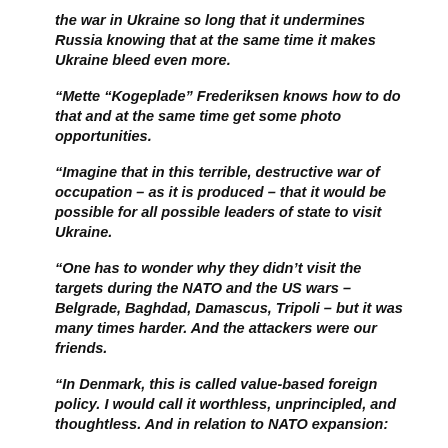the war in Ukraine so long that it undermines Russia knowing that at the same time it makes Ukraine bleed even more.
“Mette “Kogeplade” Frederiksen knows how to do that and at the same time get some photo opportunities.
“Imagine that in this terrible, destructive war of occupation – as it is produced – that it would be possible for all possible leaders of state to visit Ukraine.
“One has to wonder why they didn’t visit the targets during the NATO and the US wars – Belgrade, Baghdad, Damascus, Tripoli – but it was many times harder. And the attackers were our friends.
“In Denmark, this is called value-based foreign policy. I would call it worthless, unprincipled, and thoughtless. And in relation to NATO expansion: